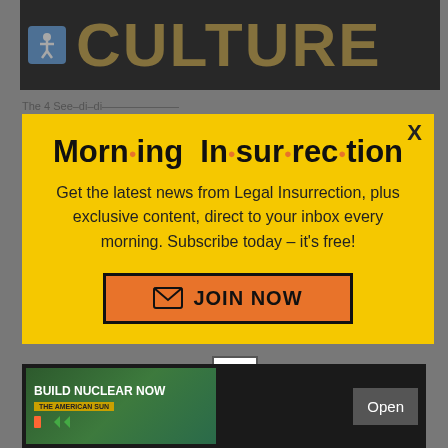[Figure (screenshot): Website header banner with 'CULTURE' text in large gold/brown letters on black background, with accessibility icon (wheelchair user) on blue background at left]
[Figure (screenshot): Modal popup with yellow background. Title reads 'Morn·ing In·sur·rec·tion' with orange dots as bullet points. Body text: 'Get the latest news from Legal Insurrection, plus exclusive content, direct to your inbox every morning. Subscribe today – it's free!' with an orange 'JOIN NOW' button with envelope icon. X close button at top right.]
[Figure (screenshot): Small white close button with X symbol below modal, and a 'BUILD NUCLEAR NOW' advertisement banner on dark background at the bottom of the page with an 'Open' button]